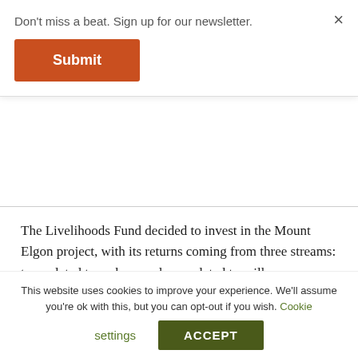Don't miss a beat. Sign up for our newsletter.
Submit
The Livelihoods Fund decided to invest in the Mount Elgon project, with its returns coming from three streams: two related to carbon, and one related to milk.
The Income Streams
The first stream comes from the carbon captured in soil, and it uses the exact methods that VI
This website uses cookies to improve your experience. We'll assume you're ok with this, but you can opt-out if you wish. Cookie settings ACCEPT